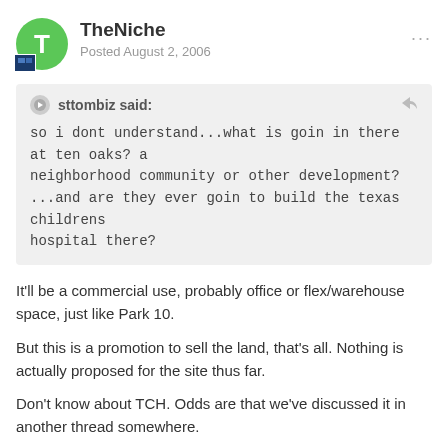TheNiche
Posted August 2, 2006
sttombiz said:
so i dont understand...what is goin in there at ten oaks? a neighborhood community or other development?
...and are they ever goin to build the texas childrens hospital there?
It'll be a commercial use, probably office or flex/warehouse space, just like Park 10.
But this is a promotion to sell the land, that's all. Nothing is actually proposed for the site thus far.
Don't know about TCH. Odds are that we've discussed it in another thread somewhere.